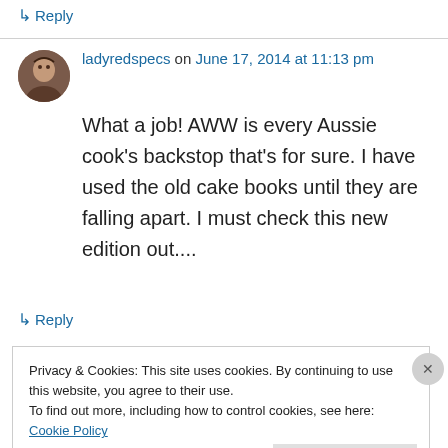↳ Reply
ladyredspecs on June 17, 2014 at 11:13 pm
What a job! AWW is every Aussie cook's backstop that's for sure. I have used the old cake books until they are falling apart. I must check this new edition out....
↳ Reply
Privacy & Cookies: This site uses cookies. By continuing to use this website, you agree to their use.
To find out more, including how to control cookies, see here: Cookie Policy
Close and accept